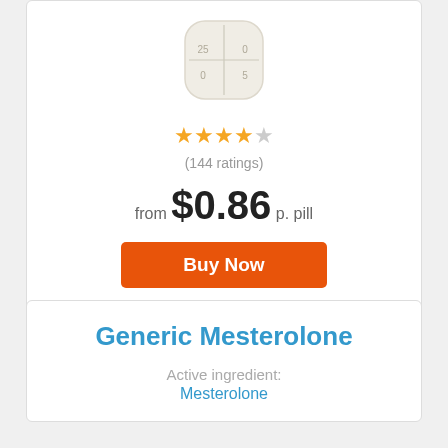[Figure (photo): White scored tablet pill image]
★★★★☆ (144 ratings)
from $0.86 p. pill
Buy Now
Generic Mesterolone
Active ingredient: Mesterolone